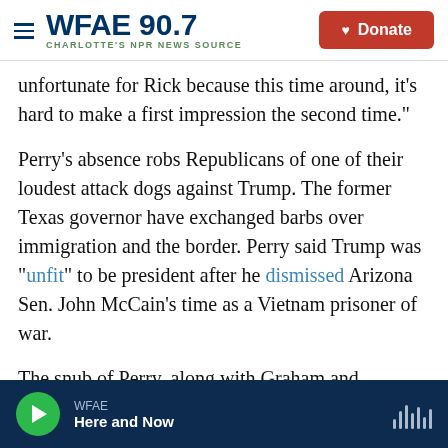WFAE 90.7 – Charlotte's NPR News Source | Donate
unfortunate for Rick because this time around, it's hard to make a first impression the second time."
Perry's absence robs Republicans of one of their loudest attack dogs against Trump. The former Texas governor have exchanged barbs over immigration and the border. Perry said Trump was "unfit" to be president after he dismissed Arizona Sen. John McCain's time as a Vietnam prisoner of war.
The snub of Perry, along with Graham and Gilmore, also means there will be no military veterans on the
WFAE – Here and Now